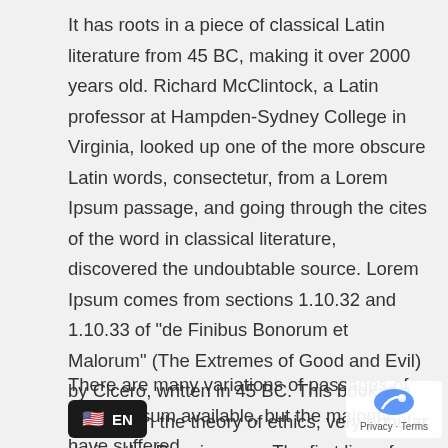It has roots in a piece of classical Latin literature from 45 BC, making it over 2000 years old. Richard McClintock, a Latin professor at Hampden-Sydney College in Virginia, looked up one of the more obscure Latin words, consectetur, from a Lorem Ipsum passage, and going through the cites of the word in classical literature, discovered the undoubtable source. Lorem Ipsum comes from sections 1.10.32 and 1.10.33 of "de Finibus Bonorum et Malorum" (The Extremes of Good and Evil) by Cicero, written in 45 BC. This book is a treatise on the theory of ethics, very popular during the Renaissance. The first line of Lorem Ipsum, "Lorem ipsum dolor sit amet..", comes from a line in section 1.10.32.
There are many variations of passages of Lorem Ipsum available, but the majority have suffered